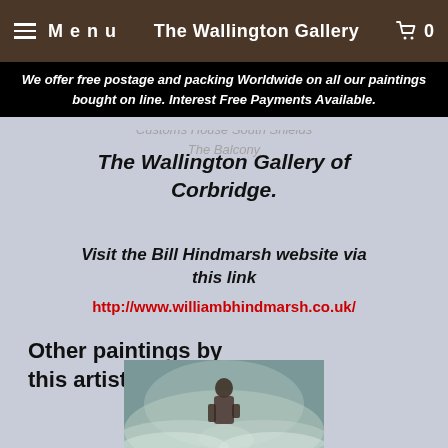Menu | The Wallington Gallery | 0
We offer free postage and packing Worldwide on all our paintings bought on line. Interest Free Payments Available.
The Wallington Gallery of Corbridge.
Visit the Bill Hindmarsh website via this link
http://www.williambhindmarsh.co.uk/
Other paintings by this artist:
[Figure (photo): A painting thumbnail showing a figure in misty/foggy atmospheric conditions]